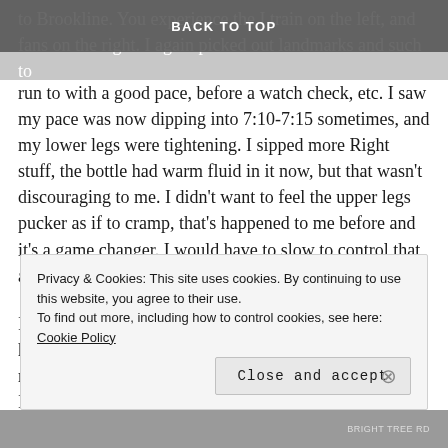BACK TO TOP
to Brookline. You experience the I train on the left, and fans on the right. I again picked out landmarks and such to run to with a good pace, before a watch check, etc. I saw my pace was now dipping into 7:10-7:15 sometimes, and my lower legs were tightening. I sipped more Right stuff, the bottle had warm fluid in it now, but that wasn't discouraging to me. I didn't want to feel the upper legs pucker as if to cramp, that's happened to me before and it's a game changer. I would have to slow to control that and stop potential cramping.
I began seeing more red Wave 1 bibs – these folks were having a rough time if I found them after they started 23 minutes ahead of me. I wanted to see how many red bibs I
Privacy & Cookies: This site uses cookies. By continuing to use this website, you agree to their use.
To find out more, including how to control cookies, see here: Cookie Policy
Close and accept